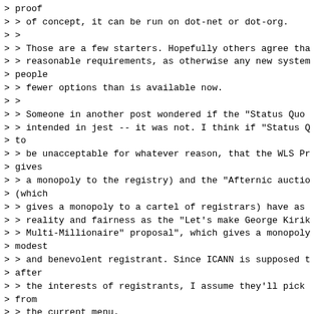> proof
> > of concept, it can be run on dot-net or dot-org.
> >
> > Those are a few starters. Hopefully others agree tha
> > reasonable requirements, as otherwise any new system
> people
> > fewer options than is available now.
> >
> > Someone in another post wondered if the "Status Quo
> > intended in jest -- it was not. I think if "Status Q
> to
> > be unacceptable for whatever reason, that the WLS Pr
> gives
> > a monopoly to the registry) and the "Afternic auctio
> (which
> > gives a monopoly to a cartel of registrars) have as
> > reality and fairness as the "Let's make George Kirik
> > Multi-Millionaire" proposal", which gives a monopoly
> modest
> > and benevolent registrant. Since ICANN is supposed t
> after
> > the interests of registrants, I assume they'll pick
> from
> > the current menu.
Sincerely,
George Kirikos
http://www.kirikos.com/
P.S. I'm not on the ICANN DELETE mailing list, so if now